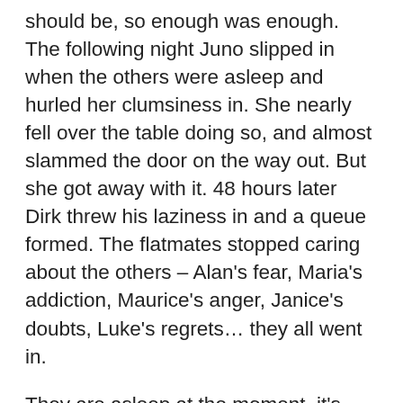should be, so enough was enough. The following night Juno slipped in when the others were asleep and hurled her clumsiness in. She nearly fell over the table doing so, and almost slammed the door on the way out. But she got away with it. 48 hours later Dirk threw his laziness in and a queue formed. The flatmates stopped caring about the others – Alan's fear, Maria's addiction, Maurice's anger, Janice's doubts, Luke's regrets… they all went in.
They are asleep at the moment, it's been a peaceful night, but soon the dawn will break, dogs will bark, litter will clatter and birds will sing. Then all hell will break loose. It'll start with Juno's Clumsiness, dropping her cuppa. She always starts the day spilling her breakfast, and that wakes the others up, and if anyone is still asleep then no doubt Steve's Disappointment will break another mirror. He's always smashing them, after troubling not himself. He's called all to all